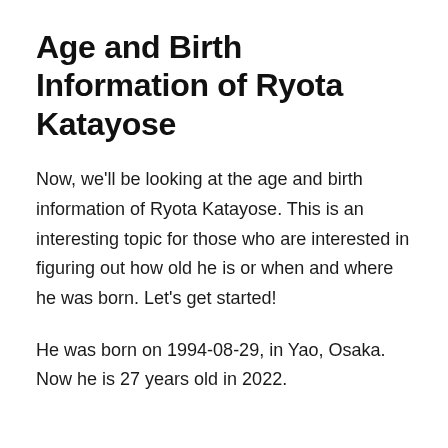Age and Birth Information of Ryota Katayose
Now, we'll be looking at the age and birth information of Ryota Katayose. This is an interesting topic for those who are interested in figuring out how old he is or when and where he was born. Let's get started!
He was born on 1994-08-29, in Yao, Osaka. Now he is 27 years old in 2022.